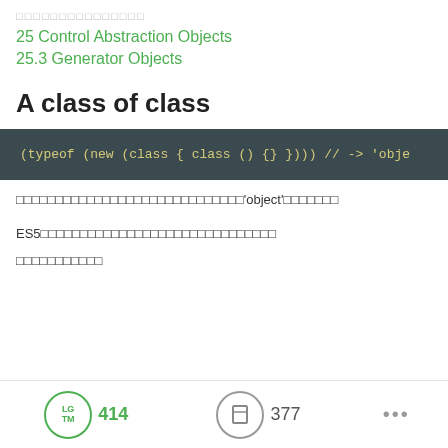□□□□□□□□□□□□□□□
25 Control Abstraction Objects
25.3 Generator Objects
A class of class
[Figure (screenshot): Code block showing: (typeof (new (class { class () {} }))) // -> 'obje]
□□□□□□□□□□□□□□□□□□□□□□□□□□□□□'object'□□□□□□□
ES5□□□□□□□□□□□□□□□□□□□□□□□□□□□□□□
□□□□□□□□□□□
LGTM 414   377   ...